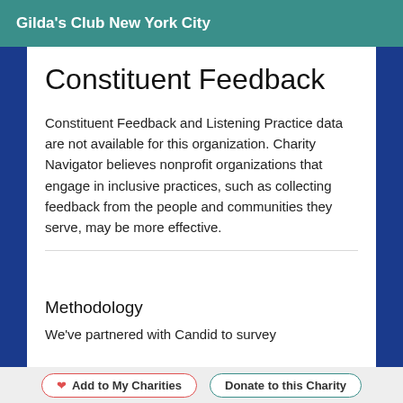Gilda's Club New York City
Constituent Feedback
Constituent Feedback and Listening Practice data are not available for this organization. Charity Navigator believes nonprofit organizations that engage in inclusive practices, such as collecting feedback from the people and communities they serve, may be more effective.
Methodology
We've partnered with Candid to survey…
Add to My Charities   Donate to this Charity